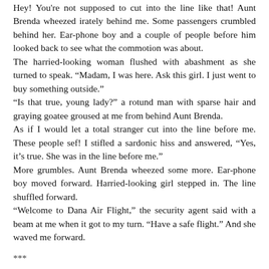Hey! You're not supposed to cut into the line like that! Aunt Brenda wheezed irately behind me. Some passengers crumbled behind her. Ear-phone boy and a couple of people before him looked back to see what the commotion was about.
The harried-looking woman flushed with abashment as she turned to speak. “Madam, I was here. Ask this girl. I just went to buy something outside.”
“Is that true, young lady?” a rotund man with sparse hair and graying goatee groused at me from behind Aunt Brenda.
As if I would let a total stranger cut into the line before me. These people sef! I stifled a sardonic hiss and answered, “Yes, it’s true. She was in the line before me.”
More grumbles. Aunt Brenda wheezed some more. Ear-phone boy moved forward. Harried-looking girl stepped in. The line shuffled forward.
“Welcome to Dana Air Flight,” the security agent said with a beam at me when it got to my turn. “Have a safe flight.” And she waved me forward.
***
Just my luck, I thought with an indelicate frown etched my face as I paused to gape at the person seated beside me in the Economic Class section of the aircraft. Aunt Brenda with her enormous...